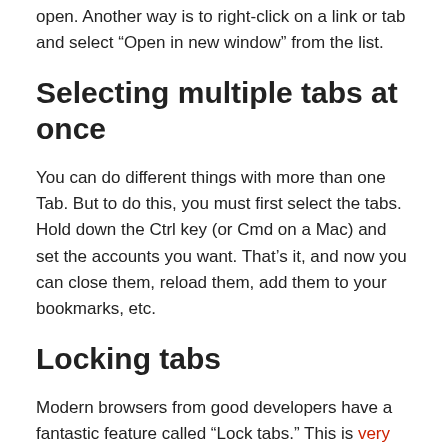open. Another way is to right-click on a link or tab and select “Open in new window” from the list.
Selecting multiple tabs at once
You can do different things with more than one Tab. But to do this, you must first select the tabs. Hold down the Ctrl key (or Cmd on a Mac) and set the accounts you want. That’s it, and now you can close them, reload them, add them to your bookmarks, etc.
Locking tabs
Modern browsers from good developers have a fantastic feature called “Lock tabs.” This is very useful if you keep a particular tab open. For example, it may be a tab with Gmail or a music service. Once you pin a tab, it will be harder to close and take up less space in the tab bar.